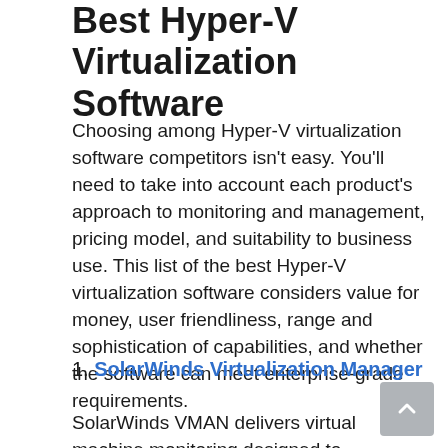Best Hyper-V Virtualization Software
Choosing among Hyper-V virtualization software competitors isn't easy. You'll need to take into account each product's approach to monitoring and management, pricing model, and suitability to business use. This list of the best Hyper-V virtualization software considers value for money, user friendliness, range and sophistication of capabilities, and whether the software can meet enterprise-grade requirements.
1. SolarWinds Virtualization Manager
SolarWinds VMAN delivers virtual machine monitoring designed to focus on boosting